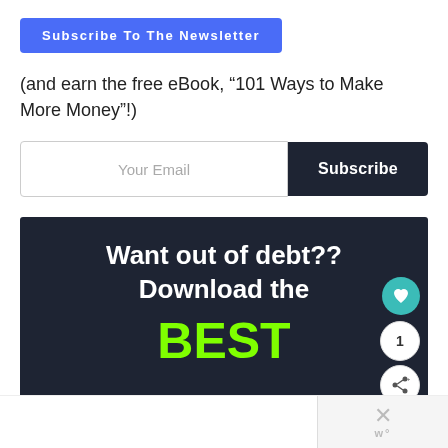Subscribe To The Newsletter
(and earn the free eBook, “101 Ways to Make More Money”!)
[Figure (screenshot): Email subscription form with 'Your Email' input field and dark 'Subscribe' button]
[Figure (infographic): Dark banner with white bold text 'Want out of debt?? Download the' and large bright green bold text 'BEST', with social action buttons (heart, count 1, share) on the right side]